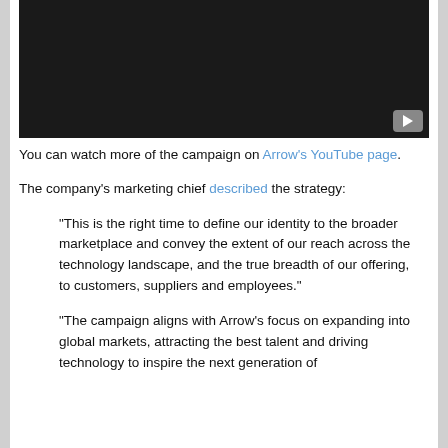[Figure (screenshot): Dark video player with a YouTube play button in the bottom-right corner]
You can watch more of the campaign on Arrow's YouTube page.
The company's marketing chief described the strategy:
“This is the right time to define our identity to the broader marketplace and convey the extent of our reach across the technology landscape, and the true breadth of our offering, to customers, suppliers and employees.”
“The campaign aligns with Arrow’s focus on expanding into global markets, attracting the best talent and driving technology to inspire the next generation of